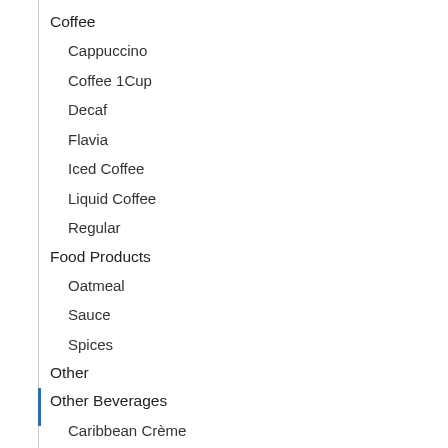Coffee
Cappuccino
Coffee 1Cup
Decaf
Flavia
Iced Coffee
Liquid Coffee
Regular
Food Products
Oatmeal
Sauce
Spices
Other
Other Beverages
Caribbean Crème
Frozen Beverage
Hot Chocolate
Juice